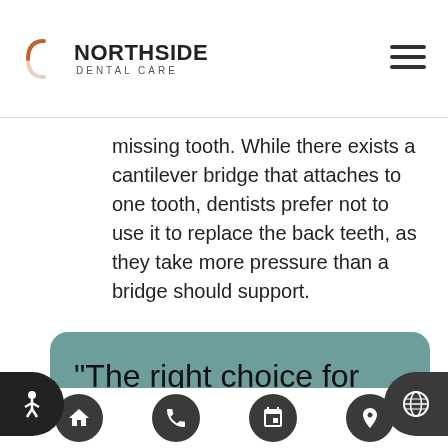NORTHSIDE DENTAL CARE
missing tooth. While there exists a cantilever bridge that attaches to one tooth, dentists prefer not to use it to replace the back teeth, as they take more pressure than a bridge should support.
“The right choice for any individual patient depends on specific factors such as medical history, oral health,